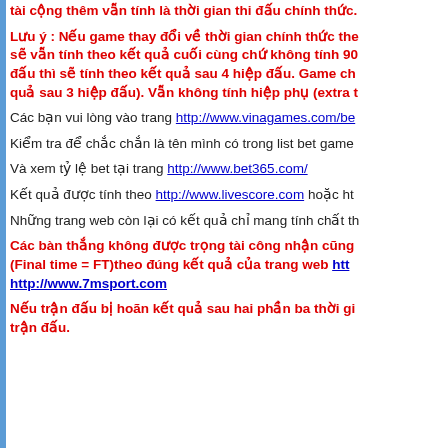tài cộng thêm vẫn tính là thời gian thi đấu chính thức.
Lưu ý : Nếu game thay đổi về thời gian chính thức the sẽ vẫn tính theo kết quả cuối cùng chứ không tính 90 đấu thì sẽ tính theo kết quả sau 4 hiệp đấu. Game ch quả sau 3 hiệp đấu). Vẫn không tính hiệp phụ (extra t
Các bạn vui lòng vào trang http://www.vinagames.com/be
Kiểm tra để chắc chắn là tên mình có trong list bet game
Và xem tỷ lệ bet tại trang http://www.bet365.com/
Kết quả được tính theo http://www.livescore.com hoặc ht
Những trang web còn lại có kết quả chỉ mang tính chất th
Các bàn thắng không được trọng tài công nhận cũng (Final time = FT)theo đúng kết quả của trang web htt http://www.7msport.com
Nếu trận đấu bị hoãn kết quả sau hai phần ba thời gi trận đấu.